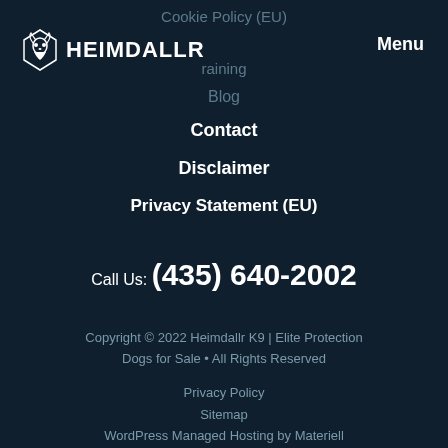[Figure (logo): Heimdallr K9 logo with wolf head icon and text HEIMDALLR]
Menu
Cookie Policy (EU)
Training
Blog
Contact
Disclaimer
Privacy Statement (EU)
Call Us: (435) 640-2002
Copyright © 2022 Heimdallr K9 | Elite Protection Dogs for Sale • All Rights Reserved
Privacy Policy
Sitemap
WordPress Managed Hosting by Materiell